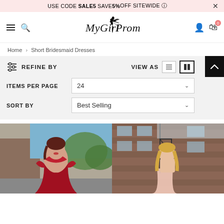USE CODE SALE5 SAVE 5% OFF SITEWIDE
[Figure (logo): MyGirlProm script logo with peacock/dress silhouette]
Home > Short Bridesmaid Dresses
REFINE BY   VIEW AS
ITEMS PER PAGE  24
SORT BY  Best Selling
[Figure (photo): Model in red off-shoulder short dress outdoors]
[Figure (photo): Blonde model in pink/light dress in front of brick building with fire escape]